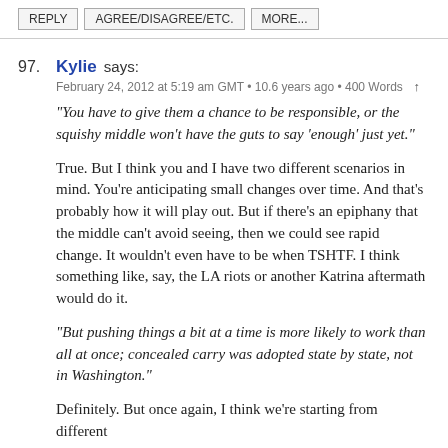REPLY   AGREE/DISAGREE/ETC.   MORE...
97. Kylie says:
February 24, 2012 at 5:19 am GMT • 10.6 years ago • 400 Words ↑
"You have to give them a chance to be responsible, or the squishy middle won't have the guts to say 'enough' just yet."
True. But I think you and I have two different scenarios in mind. You're anticipating small changes over time. And that's probably how it will play out. But if there's an epiphany that the middle can't avoid seeing, then we could see rapid change. It wouldn't even have to be when TSHTF. I think something like, say, the LA riots or another Katrina aftermath would do it.
"But pushing things a bit at a time is more likely to work than all at once; concealed carry was adopted state by state, not in Washington."
Definitely. But once again, I think we're starting from different